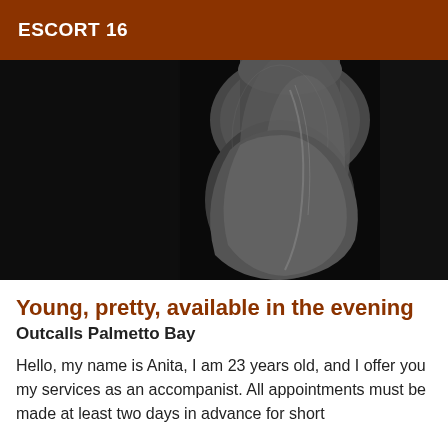ESCORT 16
[Figure (photo): Black and white close-up photograph of a human torso/body silhouette against a dark background]
Young, pretty, available in the evening
Outcalls Palmetto Bay
Hello, my name is Anita, I am 23 years old, and I offer you my services as an accompanist. All appointments must be made at least two days in advance for short